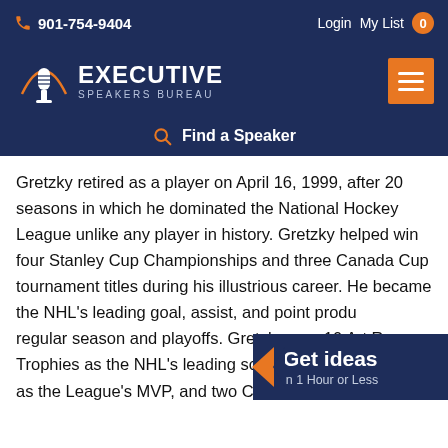901-754-9404  Login  My List 0
[Figure (logo): Executive Speakers Bureau logo with microphone icon and orange arc]
Find a Speaker
Gretzky retired as a player on April 16, 1999, after 20 seasons in which he dominated the National Hockey League unlike any player in history. Gretzky helped win four Stanley Cup Championships and three Canada Cup tournament titles during his illustrious career. He became the NHL's leading goal, assist, and point producer in the regular season and playoffs. Gretzky won 10 Art Ross Trophies as the NHL's leading scorer, nine Hart Trophies as the League's MVP, and two Conn Smythe Trophies as playoff MVP. He earned five
Get ideas in 1 Hour or Less